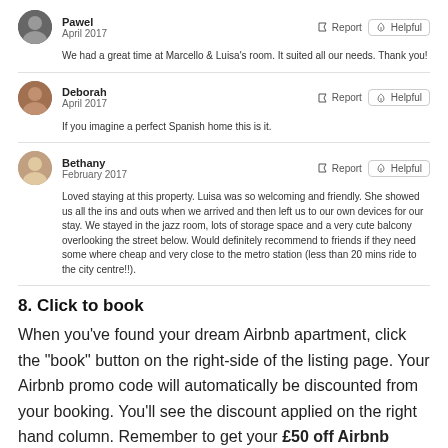Pawel
April 2017
Report  Helpful
We had a great time at Marcello & Luisa's room. It suited all our needs. Thank you!
Deborah
April 2017
Report  Helpful
If you imagine a perfect Spanish home this is it.
Bethany
February 2017
Report  Helpful
Loved staying at this property. Luisa was so welcoming and friendly. She showed us all the ins and outs when we arrived and then left us to our own devices for our stay. We stayed in the jazz room, lots of storage space and a very cute balcony overlooking the street below. Would definitely recommend to friends if they need some where cheap and very close to the metro station (less than 20 mins ride to the city centre!!).
8. Click to book
When you've found your dream Airbnb apartment, click the "book" button on the right-side of the listing page. Your Airbnb promo code will automatically be discounted from your booking. You'll see the discount applied on the right hand column. Remember to get your £50 off Airbnb Colwyn Bay voucher code before booking.